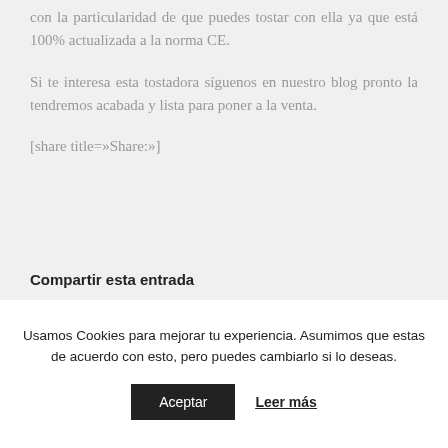con la particularidad de que puedes tostar con ella ya que está 100% actualizada a la norma CE.
Si te interesa esta tostadora síguenos en nuestro blog pronto la tendremos acabada y lista para poner a la venta.
[share title=»Share:»]
Compartir esta entrada
Usamos Cookies para mejorar tu experiencia. Asumimos que estas de acuerdo con esto, pero puedes cambiarlo si lo deseas.
Aceptar
Leer más